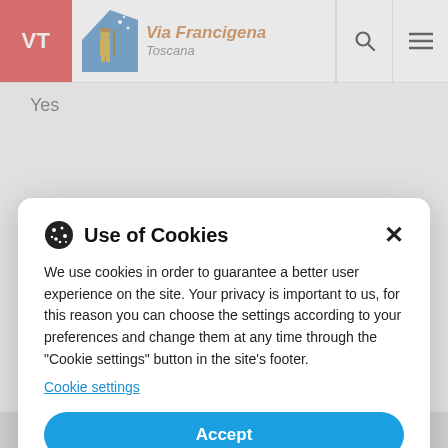VT | Via Francigena Toscana
Yes
Use of Cookies
We use cookies in order to guarantee a better user experience on the site. Your privacy is important to us, for this reason you can choose the settings according to your preferences and change them at any time through the "Cookie settings" button in the site's footer.
Cookie settings
Accept
Settings